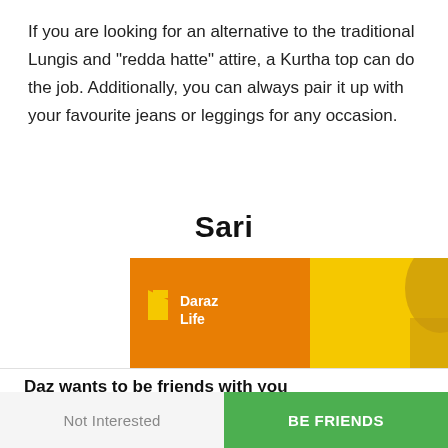If you are looking for an alternative to the traditional Lungis and "redda hatte" attire, a Kurtha top can do the job. Additionally, you can always pair it up with your favourite jeans or leggings for any occasion.
Sari
[Figure (photo): Daraz Life advertisement banner showing a woman in a sari with 'Ayurudu' text and yellow background]
Daz wants to be friends with you
Become friends with Daz to be the first one to know about exclusive deals and discounts.
Not Interested
Be Friends